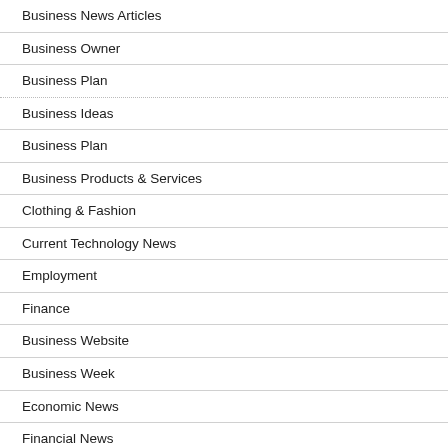Business News Articles
Business Owner
Business Plan
Business Ideas
Business Plan
Business Products & Services
Clothing & Fashion
Current Technology News
Employment
Finance
Business Website
Business Week
Economic News
Financial News